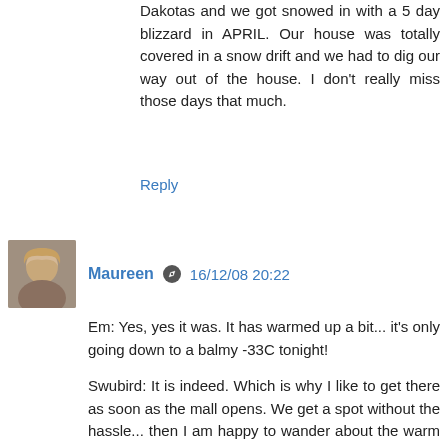Dakotas and we got snowed in with a 5 day blizzard in APRIL. Our house was totally covered in a snow drift and we had to dig our way out of the house. I don't really miss those days that much.
Reply
[Figure (photo): Profile photo of Maureen, a woman with blonde hair]
Maureen 16/12/08 20:22
Em: Yes, yes it was. It has warmed up a bit... it's only going down to a balmy -33C tonight!

Swubird: It is indeed. Which is why I like to get there as soon as the mall opens. We get a spot without the hassle... then I am happy to wander about the warm mall. Next time, we'll just have to go out and warm up the car every few hours!

Chicago Cancer Treatment: Yeah, it was quite a sight. Today I smartened up and went outside and was able to close the outside door most of the way. By pulling back the verticals and directing the floor vent to the door, the frost / ice has melted off. Doh!